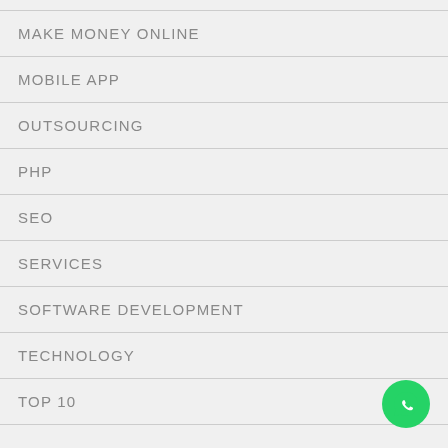MAKE MONEY ONLINE
MOBILE APP
OUTSOURCING
PHP
SEO
SERVICES
SOFTWARE DEVELOPMENT
TECHNOLOGY
TOP 10